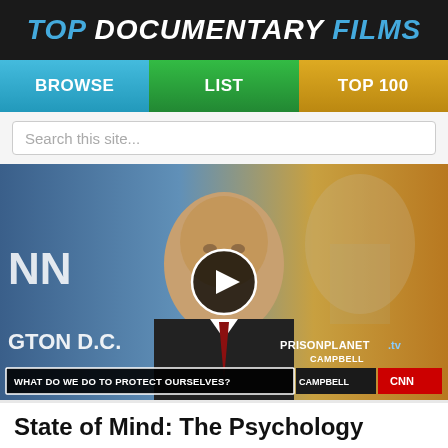TOP DOCUMENTARY FILMS
[Figure (screenshot): Navigation bar with three buttons: BROWSE (blue), LIST (green), TOP 100 (gold/yellow)]
[Figure (screenshot): Search bar with placeholder text 'Search this site...' and a search icon]
[Figure (photo): Video thumbnail showing a bald man in a suit on CNN, with a play button overlay. Lower third shows 'WHAT DO WE DO TO PROTECT OURSELVES?' and 'CAMPBELL | CNN'. PRISONPLANET.tv watermark visible. CNN logo and 'GTON D.C.' text visible in background.]
State of Mind: The Psychology